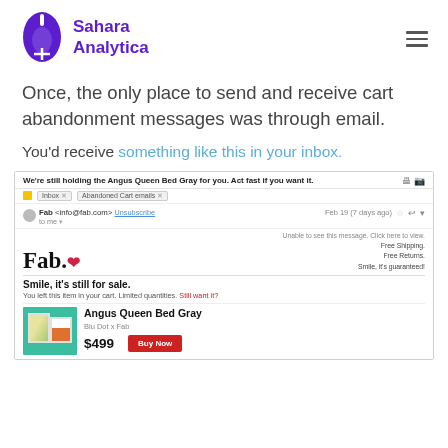[Figure (logo): Sahara Analytica logo — purple mouse/pill icon with text 'Sahara Analytica' in bold purple]
Once, the only place to send and receive cart abandonment messages was through email.
You'd receive something like this in your inbox.
[Figure (screenshot): Screenshot of a Gmail inbox showing an abandoned cart email from Fab.com for 'Angus Queen Bed Gray' priced at $499 with a Buy Now button]